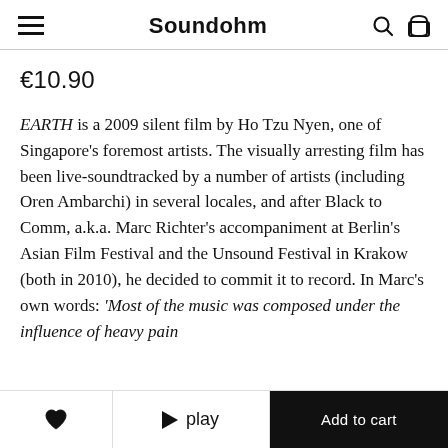Soundohm
€10.90
EARTH is a 2009 silent film by Ho Tzu Nyen, one of Singapore's foremost artists. The visually arresting film has been live-soundtracked by a number of artists (including Oren Ambarchi) in several locales, and after Black to Comm, a.k.a. Marc Richter's accompaniment at Berlin's Asian Film Festival and the Unsound Festival in Krakow (both in 2010), he decided to commit it to record. In Marc's own words: 'Most of the music was composed under the influence of heavy pain
♥   ▶ play   Add to cart